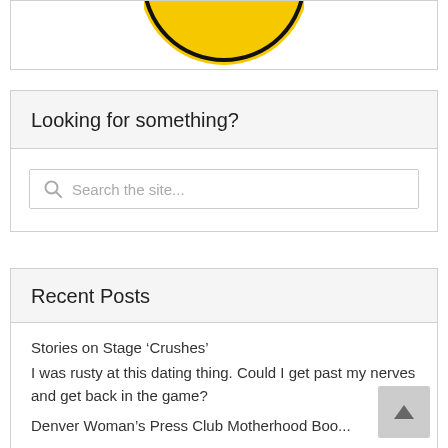[Figure (logo): Award winner badge - circular yellow and black badge with text 'AWARD WINNER' visible at the top portion]
Looking for something?
Search the site...
Recent Posts
Stories on Stage ‘Crushes’
I was rusty at this dating thing. Could I get past my nerves and get back in the game?
Denver Woman’s Press Club Motherhood Boo...